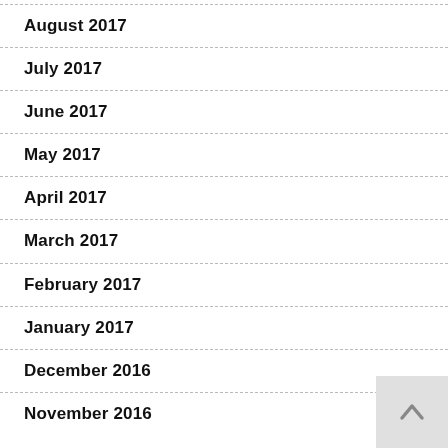August 2017
July 2017
June 2017
May 2017
April 2017
March 2017
February 2017
January 2017
December 2016
November 2016